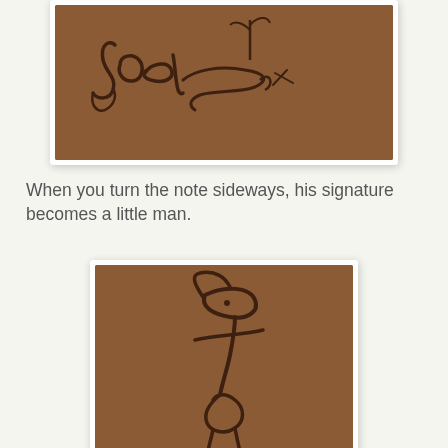[Figure (photo): A brown/tan textured surface with a handwritten cursive signature reading 'Joel' with additional marks, photographed and shown in a white-bordered frame with shadow.]
When you turn the note sideways, his signature becomes a little man.
[Figure (photo): The same brown/tan textured surface with the signature rotated 90 degrees sideways, revealing a figure that looks like a little man, shown in a white-bordered frame with shadow.]